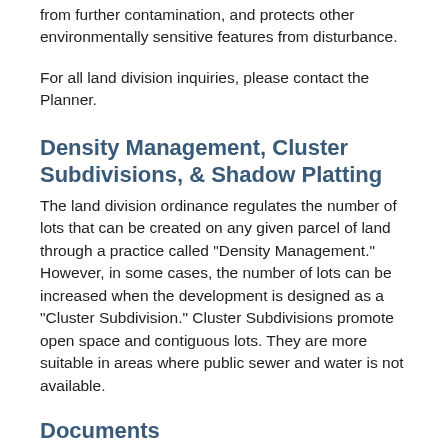from further contamination, and protects other environmentally sensitive features from disturbance.
For all land division inquiries, please contact the Planner.
Density Management, Cluster Subdivisions, & Shadow Platting
The land division ordinance regulates the number of lots that can be created on any given parcel of land through a practice called "Density Management." However, in some cases, the number of lots can be increased when the development is designed as a "Cluster Subdivision." Cluster Subdivisions promote open space and contiguous lots. They are more suitable in areas where public sewer and water is not available.
Documents
Fee Schedule (PDF)